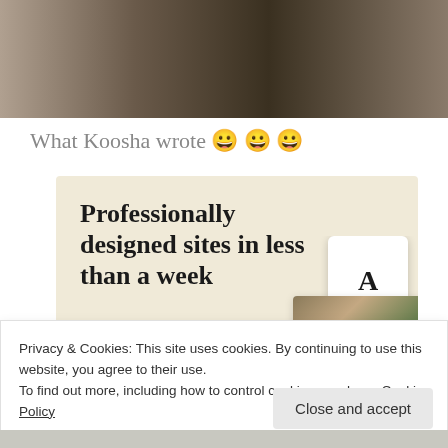[Figure (photo): Partial photo of a person sitting, showing clothing and background with decorative pillow]
What Koosha wrote 😀 😀 😀
[Figure (screenshot): Advertisement banner with cream background showing 'Professionally designed sites in less than a week' with a green 'Explore options' button and website screenshots on the right]
Privacy & Cookies: This site uses cookies. By continuing to use this website, you agree to their use.
To find out more, including how to control cookies, see here: Cookie Policy
Close and accept